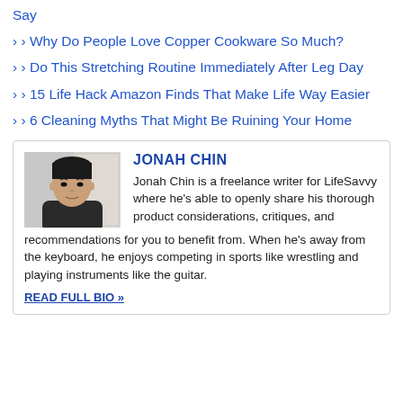Say
Why Do People Love Copper Cookware So Much?
Do This Stretching Routine Immediately After Leg Day
15 Life Hack Amazon Finds That Make Life Way Easier
6 Cleaning Myths That Might Be Ruining Your Home
[Figure (photo): Headshot photo of Jonah Chin, a young man with dark hair and a black shirt, standing in front of a white door.]
JONAH CHIN
Jonah Chin is a freelance writer for LifeSavvy where he's able to openly share his thorough product considerations, critiques, and recommendations for you to benefit from. When he's away from the keyboard, he enjoys competing in sports like wrestling and playing instruments like the guitar.
READ FULL BIO »